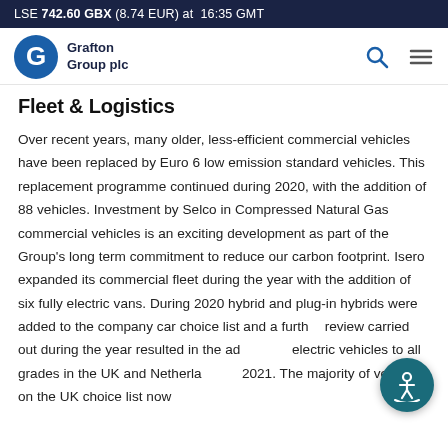LSE 742.60 GBX (8.74 EUR) at 16:35 GMT
[Figure (logo): Grafton Group plc logo with G icon and search/menu icons]
Fleet & Logistics
Over recent years, many older, less-efficient commercial vehicles have been replaced by Euro 6 low emission standard vehicles. This replacement programme continued during 2020, with the addition of 88 vehicles. Investment by Selco in Compressed Natural Gas commercial vehicles is an exciting development as part of the Group's long term commitment to reduce our carbon footprint. Isero expanded its commercial fleet during the year with the addition of six fully electric vans. During 2020 hybrid and plug-in hybrids were added to the company car choice list and a further review carried out during the year resulted in the addition of electric vehicles to all grades in the UK and Netherlands in 2021. The majority of vehicles on the UK choice list now